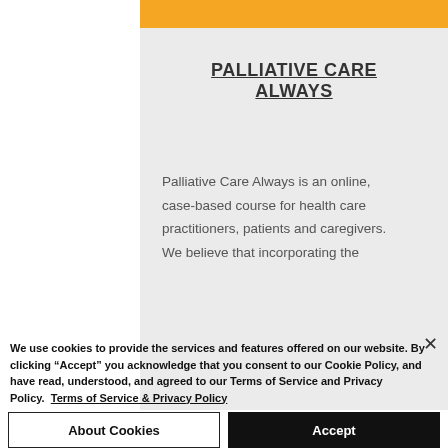PALLIATIVE CARE ALWAYS
Palliative Care Always is an online, case-based course for health care practitioners, patients and caregivers. We believe that incorporating the
We use cookies to provide the services and features offered on our website. By clicking “Accept” you acknowledge that you consent to our Cookie Policy, and have read, understood, and agreed to our Terms of Service and Privacy Policy. Terms of Service & Privacy Policy
About Cookies
Accept